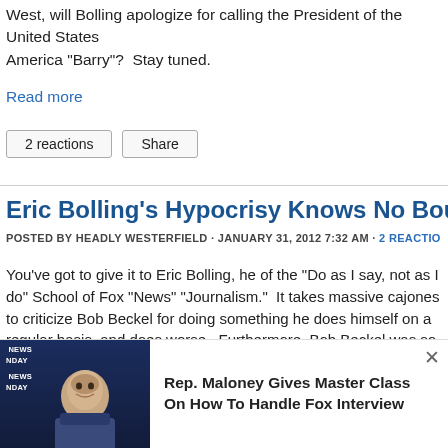West, will Bolling apologize for calling the President of the United States of America “Barry”?  Stay tuned.
Read more
2 reactions   Share
Eric Bolling’s Hypocrisy Knows No Bounds
POSTED BY HEADLY WESTERFIELD · JANUARY 31, 2012 7:32 AM · 2 REACTIONS
You’ve got to give it to Eric Bolling, he of the “Do as I say, not as I do” School of Fox “News” “Journalism.”  It takes massive cajones to criticize Bob Beckel for doing something he does himself on a regular basis, and does worse.  Furthermore, Bob Beckel was so lost in his righteous anger over Rep. Allen West’s recent comments (described by Ellen here, here and here), that he either didn’t catch Bolling in the hypocrisy, or just didn’t care to, even though it’s something he criticized Bolling for in the past.
[Figure (photo): Notification banner showing a man in a suit on a dark blue background with Fox News Sunday branding, alongside text: Rep. Maloney Gives Master Class On How To Handle Fox Interview]